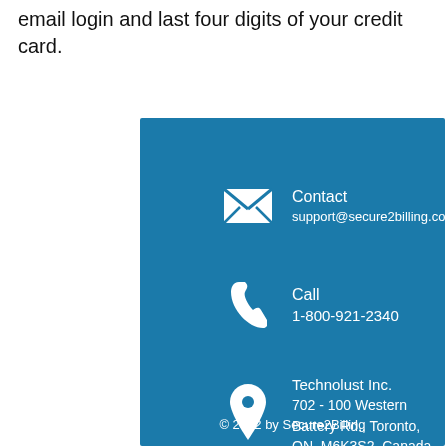email login and last four digits of your credit card.
Contact
support@secure2billing.com
Call
1-800-921-2340
Technolust Inc.
702 - 100 Western Battery Rd., Toronto, ON, M6K3S2, Canada
© 2022 by Secure2Billing